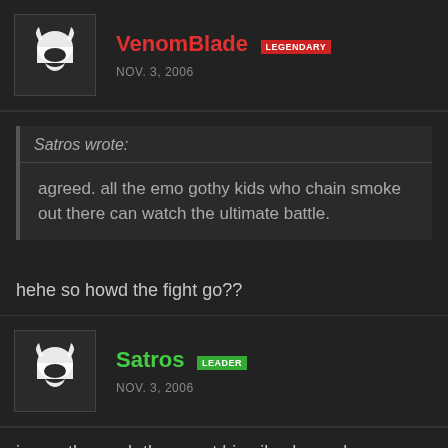[Figure (other): Forum post header for user VenomBlade with avatar (helmet icon), username in red with LEGENDARY badge in red, date NOV. 3, 2006]
Satros wrote:
agreed. all the emo gothy kids who chain smoke out there can watch the ultimate battle.
hehe so howd the fight go??
[Figure (other): Forum post header for user Satros with avatar (helmet icon), username in green with LEADER badge in green, date NOV. 3, 2006]
i won. the noob throw out his pikachu and my charizard